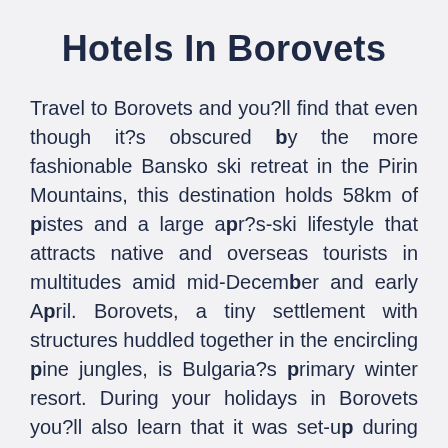Hotels In Borovets
Travel to Borovets and you?ll find that even though it?s obscured by the more fashionable Bansko ski retreat in the Pirin Mountains, this destination holds 58km of pistes and a large apr?s-ski lifestyle that attracts native and overseas tourists in multitudes amid mid-December and early April. Borovets, a tiny settlement with structures huddled together in the encircling pine jungles, is Bulgaria?s primary winter resort. During your holidays in Borovets you?ll also learn that it was set-up during 1896 by the then Bulgarian royal family, the resort is residence to the tallest mountain in the Balkans, Mount Musala. The resort base is typically jammed